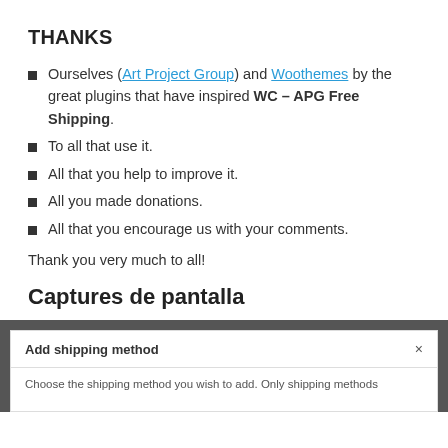THANKS
Ourselves (Art Project Group) and Woothemes by the great plugins that have inspired WC – APG Free Shipping.
To all that use it.
All that you help to improve it.
All you made donations.
All that you encourage us with your comments.
Thank you very much to all!
Captures de pantalla
[Figure (screenshot): Screenshot of a dialog box titled 'Add shipping method' with an X close button and body text starting 'Choose the shipping method you wish to add. Only shipping methods']